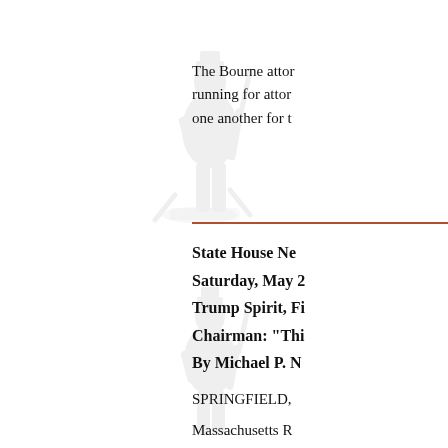[Figure (illustration): Faded background illustration of a Minuteman/colonial soldier statue, appearing twice on the left side of the page.]
The Bourne attor running for attor one another for t
State House Ne Saturday, May 2 Trump Spirit, Fi Chairman: "Thi By Michael P. N
SPRINGFIELD, Massachusetts R